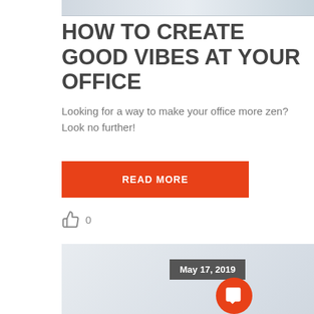[Figure (photo): Top cropped office/desk photo, partially visible at top of page]
HOW TO CREATE GOOD VIBES AT YOUR OFFICE
Looking for a way to make your office more zen? Look no further!
READ MORE
0
[Figure (photo): Photo of a woman (Asian) working at a computer in an office, with a gray date badge showing May 17, 2019 and an orange chat button in the bottom right corner]